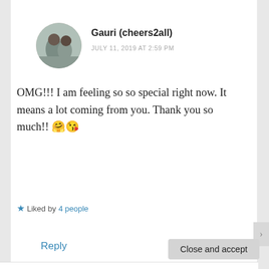Gauri (cheers2all)
JULY 11, 2019 AT 2:59 PM
OMG!!! I am feeling so so special right now. It means a lot coming from you. Thank you so much!! 🤗😘
★ Liked by 4 people
Reply
Privacy & Cookies: This site uses cookies. By continuing to use this website, you agree to their use.
To find out more, including how to control cookies, see here: Cookie Policy
Close and accept